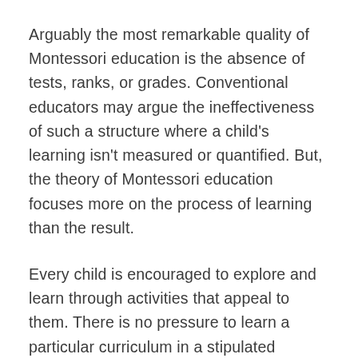Arguably the most remarkable quality of Montessori education is the absence of tests, ranks, or grades. Conventional educators may argue the ineffectiveness of such a structure where a child's learning isn't measured or quantified. But, the theory of Montessori education focuses more on the process of learning than the result.
Every child is encouraged to explore and learn through activities that appeal to them. There is no pressure to learn a particular curriculum in a stipulated amount of time. This freedom of pace eliminates the rat race of grading and competition. What it also achieves is making the child fall in love with the process of learning itself without chasing